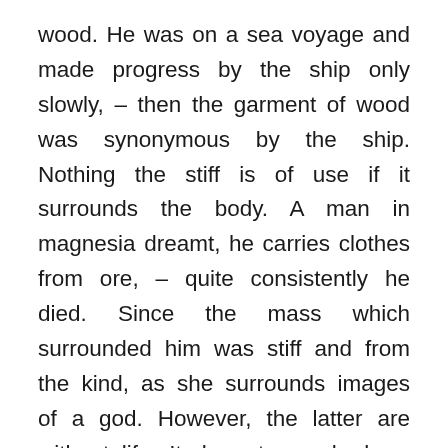wood. He was on a sea voyage and made progress by the ship only slowly, – then the garment of wood was synonymous by the ship. Nothing the stiff is of use if it surrounds the body. A man in magnesia dreamt, he carries clothes from ore, – quite consistently he died. Since the mass which surrounded him was stiff and from the kind, as she surrounds images of a god. However, the latter are without life. It dreamt somebody, a woman whom he knew since longer time, pursues him in the intention, one carried for him Pänulen (about the Tunica the Pänula – in the text the foreign word stands in gräzisierter form: phainoles – a funnel-shaped garment without sleeve with a mostly V-shaped hole for passing of the